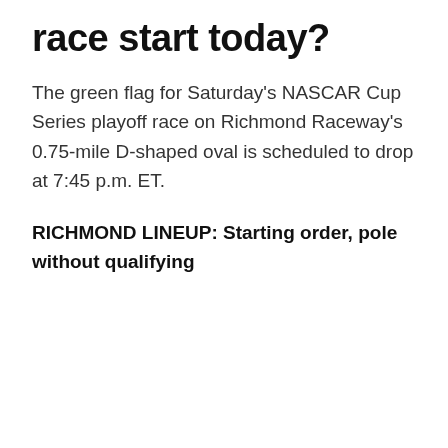race start today?
The green flag for Saturday's NASCAR Cup Series playoff race on Richmond Raceway's 0.75-mile D-shaped oval is scheduled to drop at 7:45 p.m. ET.
RICHMOND LINEUP: Starting order, pole without qualifying